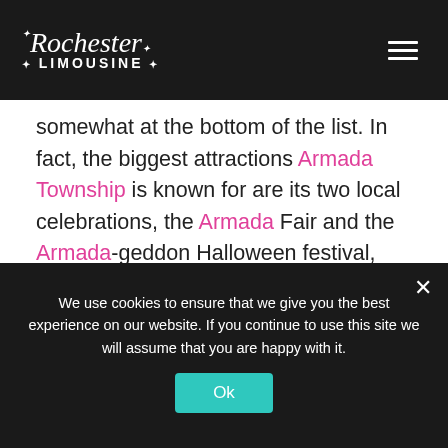Rochester Limousine
somewhat at the bottom of the list. In fact, the biggest attractions Armada Township is known for are its two local celebrations, the Armada Fair and the Armada-geddon Halloween festival, which bring people throughout the township together twice a year. That's
We use cookies to ensure that we give you the best experience on our website. If you continue to use this site we will assume that you are happy with it.